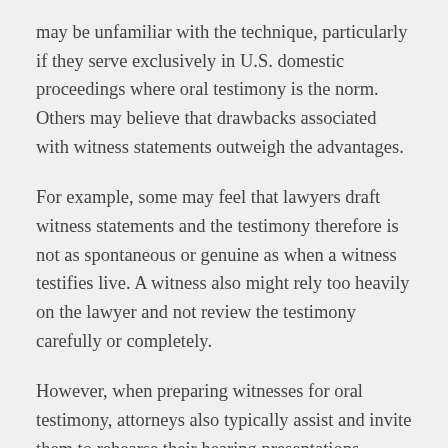may be unfamiliar with the technique, particularly if they serve exclusively in U.S. domestic proceedings where oral testimony is the norm.  Others may believe that drawbacks associated with witness statements outweigh the advantages.
For example, some may feel that lawyers draft witness statements and the testimony therefore is not as spontaneous or genuine as when a witness testifies live.  A witness also might rely too heavily on the lawyer and not review the testimony carefully or completely.
However, when preparing witnesses for oral testimony, attorneys also typically assist and invite them to rehearse their hearing presentations.  Attorneys have a duty to admonish witnesses concerning the truth and